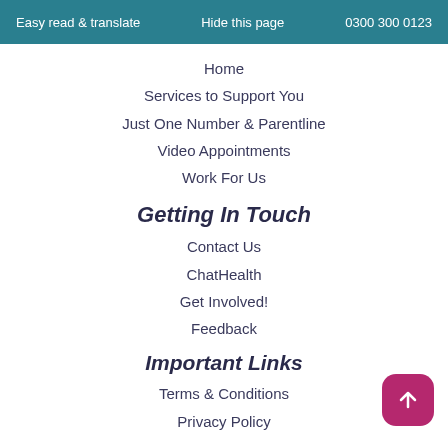Easy read & translate    Hide this page    0300 300 0123
Home
Services to Support You
Just One Number & Parentline
Video Appointments
Work For Us
Getting In Touch
Contact Us
ChatHealth
Get Involved!
Feedback
Important Links
Terms & Conditions
Privacy Policy